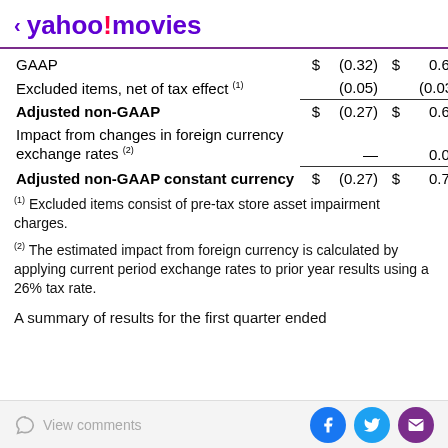< yahoo!movies
|  | $ |  | $ |  |
| --- | --- | --- | --- | --- |
| GAAP | $ | (0.32) | $ | 0.64 |
| Excluded items, net of tax effect (1) |  | (0.05) |  | (0.03) |
| Adjusted non-GAAP | $ | (0.27) | $ | 0.67 |
| Impact from changes in foreign currency exchange rates (2) |  | — |  | 0.05 |
| Adjusted non-GAAP constant currency | $ | (0.27) | $ | 0.72 |
(1) Excluded items consist of pre-tax store asset impairment charges.
(2) The estimated impact from foreign currency is calculated by applying current period exchange rates to prior year results using a 26% tax rate.
A summary of results for the first quarter ended
View comments